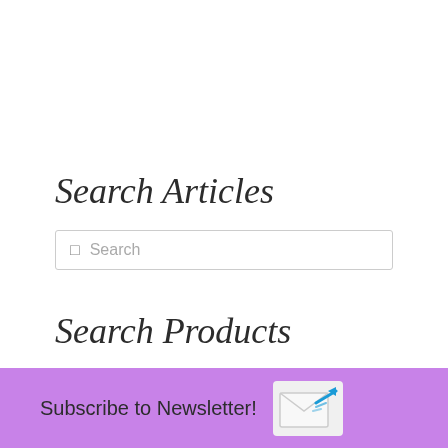Search Articles
[Figure (screenshot): Search input box with magnifying glass icon and placeholder text 'Search']
Search Products
[Figure (screenshot): Search input box with magnifying glass icon and placeholder text 'Search for products']
Subscribe to Newsletter!